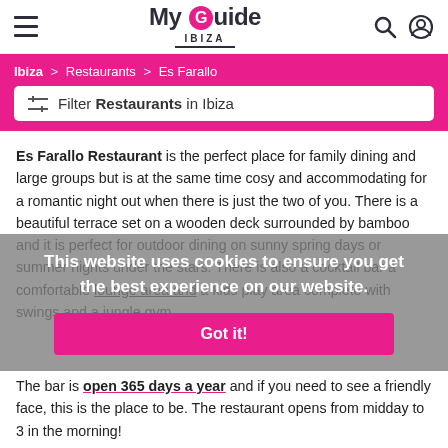My Guide Ibiza
Ibiza > Restaurants > Es Farallo
Filter Restaurants in Ibiza
Es Farallo Restaurant is the perfect place for family dining and large groups but is at the same time cosy and accommodating for a romantic night out when there is just the two of you. There is a beautiful terrace set on a wooden deck surrounded by bamboo and it is perfect for outdoor dining on sunny spring days or summer nights under the stars. There is also a cocktail bar a comfortable lounge area and a kids play area complete with swings and a jungle gym.
This website uses cookies to ensure you get the best experience on our website
Got it!
The bar is open 365 days a year and if you need to see a friendly face, this is the place to be. The restaurant opens from midday to 3 in the morning!